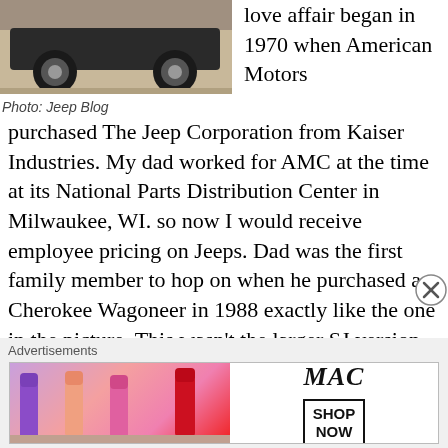[Figure (photo): Bottom portion of a Jeep Cherokee vehicle showing wheels and underbody on sandy ground]
Photo: Jeep Blog
love affair began in 1970 when American Motors purchased The Jeep Corporation from Kaiser Industries. My dad worked for AMC at the time at its National Parts Distribution Center in Milwaukee, WI. so now I would receive employee pricing on Jeeps. Dad was the first family member to hop on when he purchased a Cherokee Wagoneer in 1988 exactly like the one in the picture. This wasn't the larger SJ version but the XJ built on the new Cherokee platform introed by AMC in 1984 and over its 17-year run, just under three million were sold. This was ground-breaking stuff at the time essentially kicking off the SUV segment. Later on, mom wanted something easier to get in and out of and he sold this Jeep to
Advertisements
[Figure (photo): MAC Cosmetics advertisement showing lipsticks with SHOP NOW box]